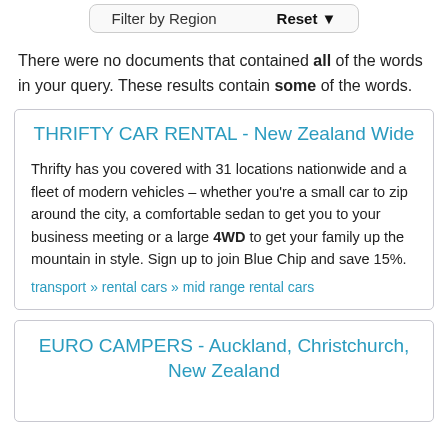[Figure (screenshot): Filter by Region bar with Reset button]
There were no documents that contained all of the words in your query. These results contain some of the words.
THRIFTY CAR RENTAL - New Zealand Wide
Thrifty has you covered with 31 locations nationwide and a fleet of modern vehicles – whether you're a small car to zip around the city, a comfortable sedan to get you to your business meeting or a large 4WD to get your family up the mountain in style. Sign up to join Blue Chip and save 15%.
transport » rental cars » mid range rental cars
EURO CAMPERS - Auckland, Christchurch, New Zealand